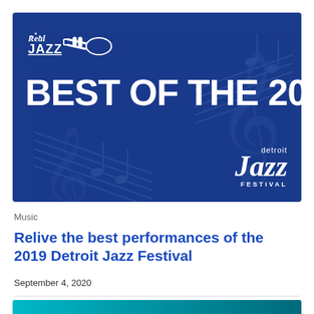[Figure (illustration): Dark blue banner image with 'Real Jazz' logo (trumpet icon) in top left, large white bold text 'BEST OF THE 2019' in center, musical notes decorative background, and 'detroit Jazz FESTIVAL' logo in bottom right corner.]
Music
Relive the best performances of the 2019 Detroit Jazz Festival
September 4, 2020